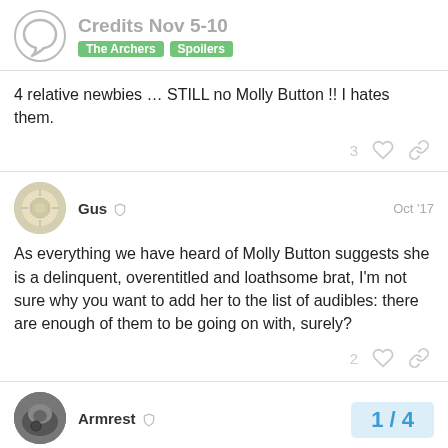Credits Nov 5-10 | The Archers | Spoilers
4 relative newbies … STILL no Molly Button !! I hates them.
Gus  Oct '17
As everything we have heard of Molly Button suggests she is a delinquent, overentitled and loathsome brat, I'm not sure why you want to add her to the list of audibles: there are enough of them to be going on with, surely?
Armrest  Oct '17
Always the bridesmaid, I feel sorry for the
1 / 4